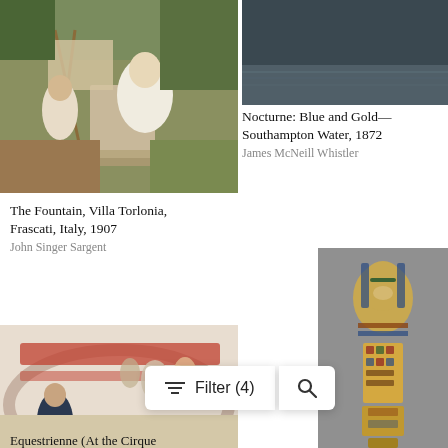[Figure (photo): Painting of an artist in white clothing seated at an easel outdoors in a garden setting, The Fountain, Villa Torlonia, Frascati, Italy, 1907 by John Singer Sargent]
The Fountain, Villa Torlonia, Frascati, Italy, 1907
John Singer Sargent
[Figure (photo): Dark nocturne painting of water at night, muted blue-grey tones, Nocturne: Blue and Gold—Southampton Water, 1872 by James McNeill Whistler]
Nocturne: Blue and Gold—Southampton Water, 1872
James McNeill Whistler
[Figure (photo): Colorful painting of a circus scene with figures in a ring, red striped decorations, Equestrienne (At the Cirque...)]
Equestrienne (At the Cirque
[Figure (photo): Egyptian mummy case / coffin with decorative painted hieroglyphs and figurative imagery, gold and earth-tone colors on grey background]
Filter (4)